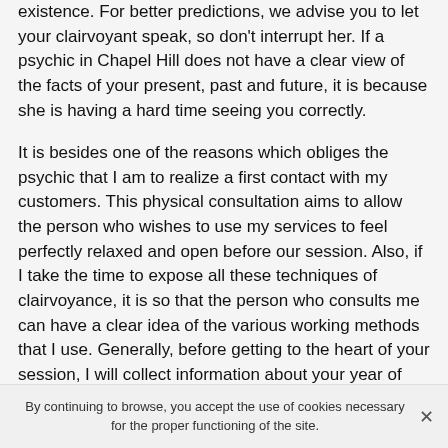existence. For better predictions, we advise you to let your clairvoyant speak, so don't interrupt her. If a psychic in Chapel Hill does not have a clear view of the facts of your present, past and future, it is because she is having a hard time seeing you correctly.
It is besides one of the reasons which obliges the psychic that I am to realize a first contact with my customers. This physical consultation aims to allow the person who wishes to use my services to feel perfectly relaxed and open before our session. Also, if I take the time to expose all these techniques of clairvoyance, it is so that the person who consults me can have a clear idea of the various working methods that I use. Generally, before getting to the heart of your session, I will collect information about your year of birth, your day of birth, the place of the appointment and the time of the consultation.
By continuing to browse, you accept the use of cookies necessary for the proper functioning of the site.